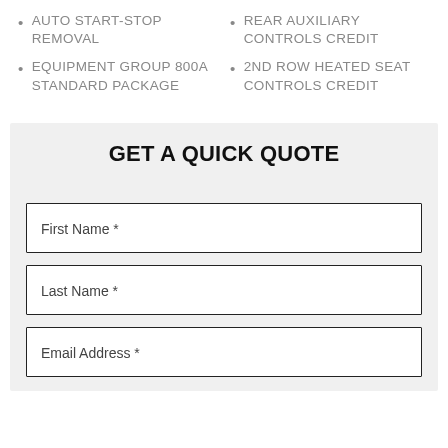AUTO START-STOP REMOVAL
EQUIPMENT GROUP 800A STANDARD PACKAGE
REAR AUXILIARY CONTROLS CREDIT
2ND ROW HEATED SEAT CONTROLS CREDIT
GET A QUICK QUOTE
First Name *
Last Name *
Email Address *